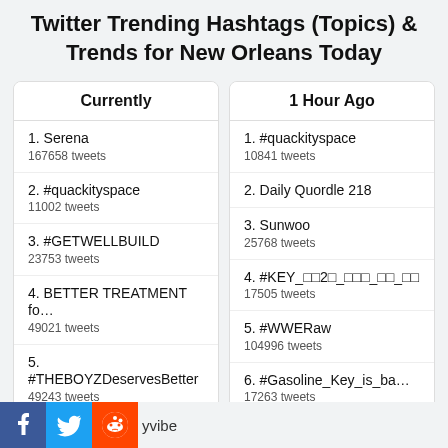Twitter Trending Hashtags (Topics) & Trends for New Orleans Today
| Currently |
| --- |
| 1. Serena | 167658 tweets |
| 2. #quackityspace | 11002 tweets |
| 3. #GETWELLBUILD | 23753 tweets |
| 4. BETTER TREATMENT fo… | 49021 tweets |
| 5. #THEBOYZDeservesBetter | 49243 tweets |
| 6. Daily Quordle 218 |  |
| 7. #Gasoline_Key_is_back | 20546 tweets |
| 1 Hour Ago |
| --- |
| 1. #quackityspace | 10841 tweets |
| 2. Daily Quordle 218 |  |
| 3. Sunwoo | 25768 tweets |
| 4. #KEY_□□2□_□□□_□□_□□ | 17505 tweets |
| 5. #WWERaw | 104996 tweets |
| 6. #Gasoline_Key_is_ba… | 17263 tweets |
| 7. #Wordle437 |  |
| 8. Dunkey |  |
| 9. Aliyah |  |